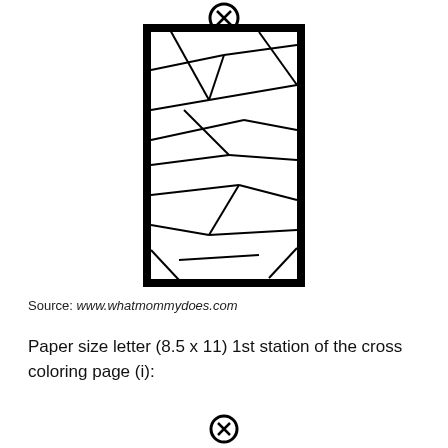[Figure (illustration): A tall narrow vertical rectangle with thick black border filled with a stained-glass-like geometric pattern of irregular polygons divided by diagonal lines. A circled X symbol appears at the top of the shape.]
Source: www.whatmommydoes.com
Paper size letter (8.5 x 11) 1st station of the cross coloring page (i):
[Figure (illustration): A circled X symbol at the bottom of the page.]